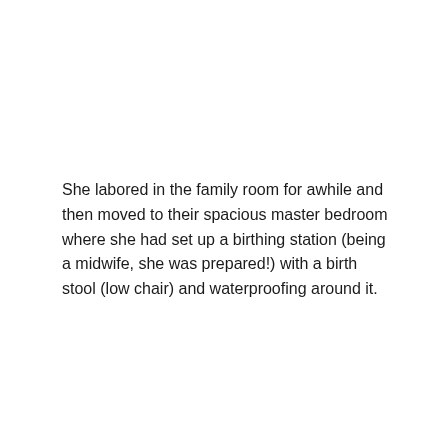She labored in the family room for awhile and then moved to their spacious master bedroom where she had set up a birthing station (being a midwife, she was prepared!) with a birth stool (low chair) and waterproofing around it.